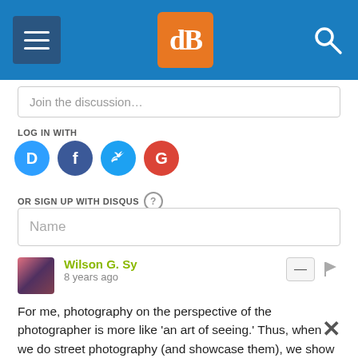[Figure (screenshot): Website header bar with hamburger menu icon on left, dPS logo (orange square with white dB letters) in center, and search icon on right, all on blue background]
Join the discussion…
LOG IN WITH
[Figure (infographic): Social login icons: Disqus (D, blue circle), Facebook (f, dark blue circle), Twitter (bird, light blue circle), Google (G, red circle)]
OR SIGN UP WITH DISQUS ?
Name
Wilson G. Sy
8 years ago
For me, photography on the perspective of the photographer is more like 'an art of seeing.' Thus, when we do street photography (and showcase them), we show our viewers the 'artfulness' of how we saw the streets, and in this case, with or